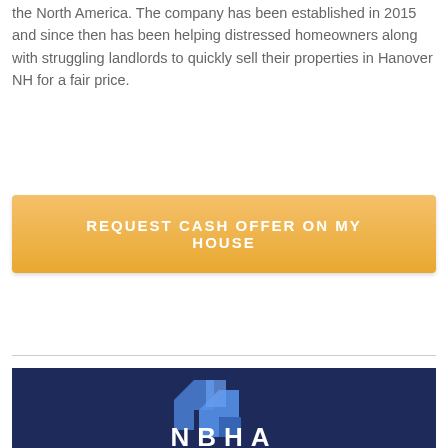the North America. The company has been established in 2015 and since then has been helping distressed homeowners along with struggling landlords to quickly sell their properties in Hanover NH for a fair price.
[Figure (other): Orange button with white uppercase text: REQUEST CASH OFFER ON MY HOUSE]
[Figure (logo): Dark navy blue background with a blue geometric house/arrow logo and partial white uppercase text 'NBHA' or similar company name at the bottom]